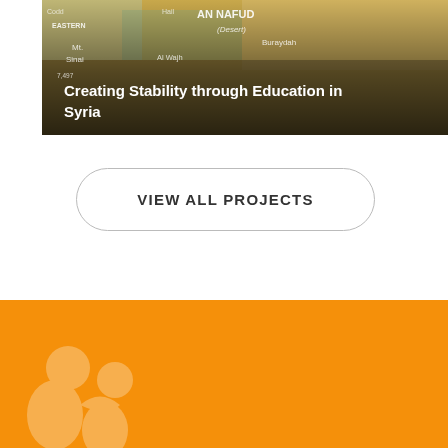[Figure (photo): Map showing the Middle East region including An Nafud Desert, Al Wajh, Buraydah, Eastern Sinai area, with a dark gradient overlay. Text overlay reads 'Creating Stability through Education in Syria']
Creating Stability through Education in Syria
VIEW ALL PROJECTS
[Figure (logo): Orange footer background with a white stylized logo/icon shape (people or abstract figure) in the lower left]